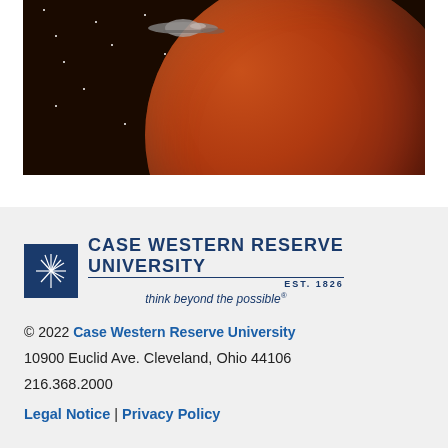[Figure (photo): Spacecraft flying near a large reddish-brown planet against a starry black space background. The planet fills most of the right portion of the image with cloud-like surface features visible.]
[Figure (logo): Case Western Reserve University logo with starburst icon in a dark blue square, university name in large blue letters, 'EST. 1826' and tagline 'think beyond the possible']
© 2022 Case Western Reserve University
10900 Euclid Ave. Cleveland, Ohio 44106
216.368.2000
Legal Notice | Privacy Policy